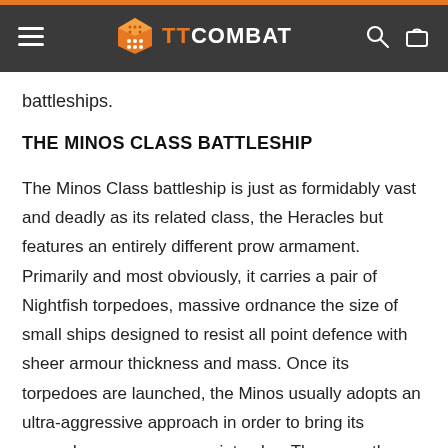TTCOMBAT
battleships.
THE MINOS CLASS BATTLESHIP
The Minos Class battleship is just as formidably vast and deadly as its related class, the Heracles but features an entirely different prow armament. Primarily and most obviously, it carries a pair of Nightfish torpedoes, massive ordnance the size of small ships designed to resist all point defence with sheer armour thickness and mass. Once its torpedoes are launched, the Minos usually adopts an ultra-aggressive approach in order to bring its secondary prow weapons into play. These are the ultra-advanced neutron